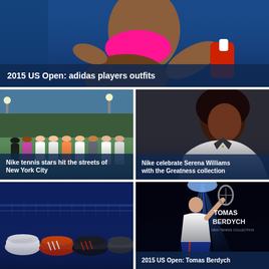[Figure (photo): Tennis player in pink top crouching, 2015 US Open adidas outfits promotion]
2015 US Open: adidas players outfits
[Figure (photo): Group of Nike tennis stars posing on streets of New York City]
Nike tennis stars hit the streets of New York City
[Figure (photo): Female athlete in white jacket, Nike celebrate Serena Williams with the Greatness collection]
Nike celebrate Serena Williams with the Greatness collection
[Figure (photo): Multiple adidas sneakers lined up on a tennis court]
[Figure (photo): Tomas Berdych in spotlight pose, new tennis collection promo]
2015 US Open: Tomas Berdych